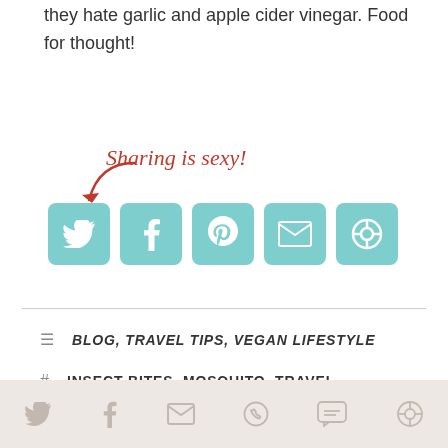they hate garlic and apple cider vinegar. Food for thought!
[Figure (infographic): Sharing is sexy! label with arrow pointing to row of social media share buttons: Twitter, Facebook, Pinterest, Email, and a share icon, all in teal/turquoise rounded square buttons]
BLOG, TRAVEL TIPS, VEGAN LIFESTYLE
INSECT BITES, MOSQUITO, TRAVEL
[Figure (infographic): Bottom footer bar with social sharing icons in muted beige/taupe: Twitter, Facebook, Email, WhatsApp, SMS, and a share icon]